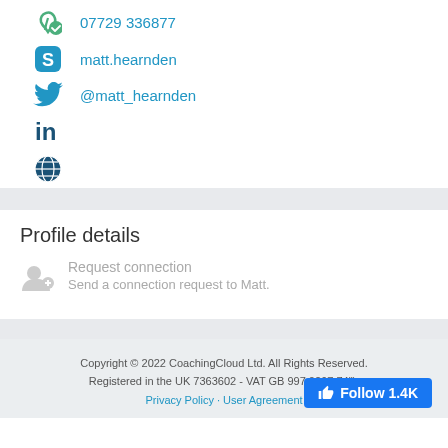07729 336877
matt.hearnden
@matt_hearnden
LinkedIn
Globe/Website
Profile details
Request connection
Send a connection request to Matt.
Copyright © 2022 CoachingCloud Ltd. All Rights Reserved. Registered in the UK 7363602 - VAT GB 997 0267 74"); Privacy Policy · User Agreement